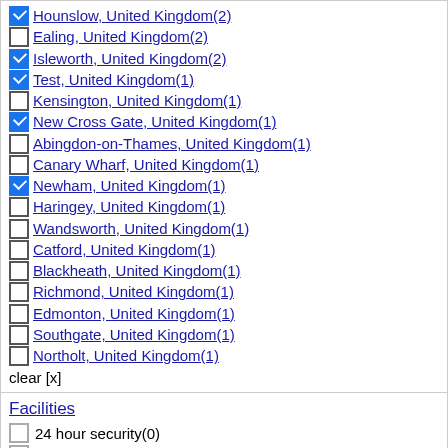Hounslow, United Kingdom(2) [checked]
Ealing, United Kingdom(2) [unchecked]
Isleworth, United Kingdom(2) [checked]
Test, United Kingdom(1) [checked]
Kensington, United Kingdom(1) [unchecked]
New Cross Gate, United Kingdom(1) [checked]
Abingdon-on-Thames, United Kingdom(1) [unchecked]
Canary Wharf, United Kingdom(1) [unchecked]
Newham, United Kingdom(1) [checked]
Haringey, United Kingdom(1) [unchecked]
Wandsworth, United Kingdom(1) [unchecked]
Catford, United Kingdom(1) [unchecked]
Blackheath, United Kingdom(1) [unchecked]
Richmond, United Kingdom(1) [unchecked]
Edmonton, United Kingdom(1) [unchecked]
Southgate, United Kingdom(1) [unchecked]
Northolt, United Kingdom(1) [unchecked]
clear [x]
Facilities
24 hour security(0) [unchecked]
24h reception(0) [unchecked]
24h room service(0) [unchecked]